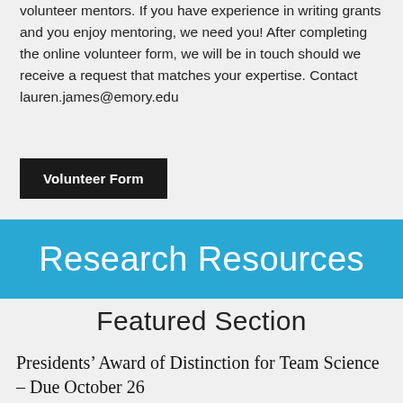volunteer mentors. If you have experience in writing grants and you enjoy mentoring, we need you! After completing the online volunteer form, we will be in touch should we receive a request that matches your expertise. Contact lauren.james@emory.edu
Volunteer Form
Research Resources
Featured Section
Presidents’ Award of Distinction for Team Science – Due October 26
The Presidents' Award of Distinction for Team Science, conferred by the Presidents of the academic institutions of the Georgia CTSA, recognizes and promotes excellence in multi-disciplinary research teams within the Georgia CTSA. This award will be